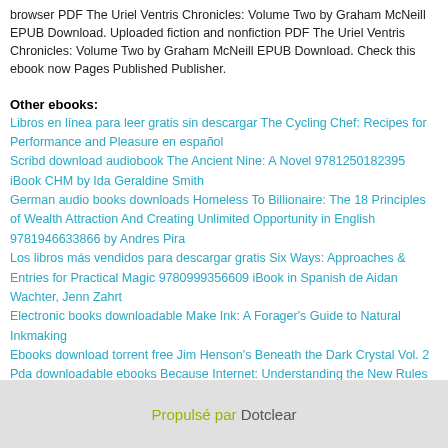browser PDF The Uriel Ventris Chronicles: Volume Two by Graham McNeill EPUB Download. Uploaded fiction and nonfiction PDF The Uriel Ventris Chronicles: Volume Two by Graham McNeill EPUB Download. Check this ebook now Pages Published Publisher.
Other ebooks:
Libros en línea para leer gratis sin descargar The Cycling Chef: Recipes for Performance and Pleasure en español
Scribd download audiobook The Ancient Nine: A Novel 9781250182395 iBook CHM by Ida Geraldine Smith
German audio books downloads Homeless To Billionaire: The 18 Principles of Wealth Attraction And Creating Unlimited Opportunity in English 9781946633866 by Andres Pira
Los libros más vendidos para descargar gratis Six Ways: Approaches & Entries for Practical Magic 9780999356609 iBook in Spanish de Aidan Wachter, Jenn Zahrt
Electronic books downloadable Make Ink: A Forager's Guide to Natural Inkmaking
Ebooks download torrent free Jim Henson's Beneath the Dark Crystal Vol. 2
Pda downloadable ebooks Because Internet: Understanding the New Rules of Language by Gretchen McCulloch 9780735210936
Propulsé par Dotclear